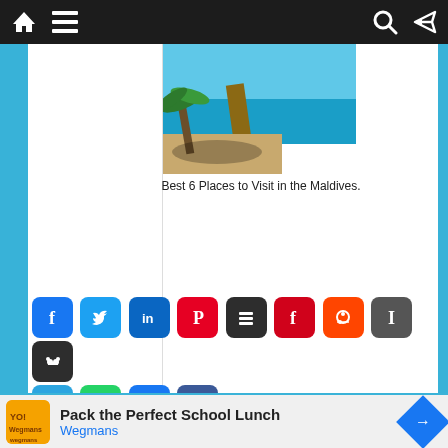Navigation bar with home, menu, search, and shuffle icons
[Figure (photo): Tropical Maldives beach with wooden dock, palm trees and turquoise water]
Best 6 Places to Visit in the Maldives.
[Figure (infographic): Social sharing icons: Facebook, Twitter, LinkedIn, Pinterest, Buffer, Flipboard, Reddit, Instapaper, MySpace, Telegram, WhatsApp, Email, Share]
No tags for this post.
Related Posts
[Figure (screenshot): Advertisement banner: Pack the Perfect School Lunch - Wegmans]